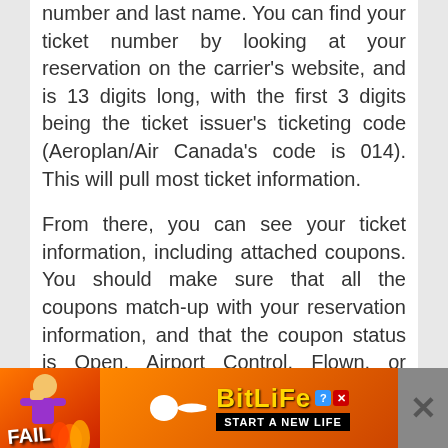number and last name. You can find your ticket number by looking at your reservation on the carrier's website, and is 13 digits long, with the first 3 digits being the ticket issuer's ticketing code (Aeroplan/Air Canada's code is 014). This will pull most ticket information.
From there, you can see your ticket information, including attached coupons. You should make sure that all the coupons match-up with your reservation information, and that the coupon status is Open, Airport Control, Flown, or Boarded. This all indicates that the coupons are open for use, or have been used. If the status shows Exchanged, NOGO, Void, Refunded, Suspended, or Closed, you won't be able to use those coupons to fly. If
[Figure (other): Advertisement banner for BitLife mobile game showing 'FAIL' text, cartoon character, flames, sperm icon, BitLife logo in gold text, and 'START A NEW LIFE' tagline on dark background with a close button.]